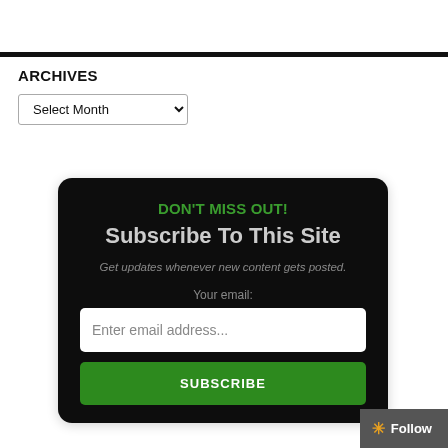ARCHIVES
Select Month
DON'T MISS OUT!
Subscribe To This Site
Get updates whenever new content gets posted.
Your email:
Enter email address...
SUBSCRIBE
Follow